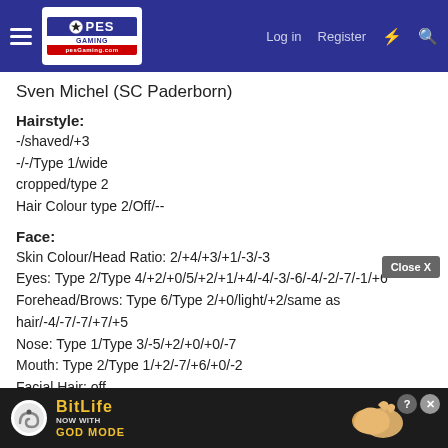PESGaming — Log in | Register
Sven Michel (SC Paderborn)
Hairstyle:
-/shaved/+3
-/-/Type 1/wide
cropped/type 2
Hair Colour type 2/Off/--
Face:
Skin Colour/Head Ratio: 2/+4/+3/+1/-3/-3
Eyes: Type 2/Type 4/+2/+0/5/+2/+1/+4/-4/-3/-6/-4/-2/-7/-1/+6
Forehead/Brows: Type 6/Type 2/+0/light/+2/same as hair/-4/-7/-7/+7/+5
Nose: Type 1/Type 3/-5/+2/+0/+0/-7
Mouth: Type 2/Type 1/+2/-7/+6/+0/-2
Facial Hair: off
Cheeks/Chin/Jaw: Type 2/Type 1/+2/+5/-1/+0/-2/+...
Ears: -6...
[Figure (screenshot): BitLife advertisement banner with snake logo, 'NOW WITH GOD MODE' text, hand pointing graphic, help and close icons]